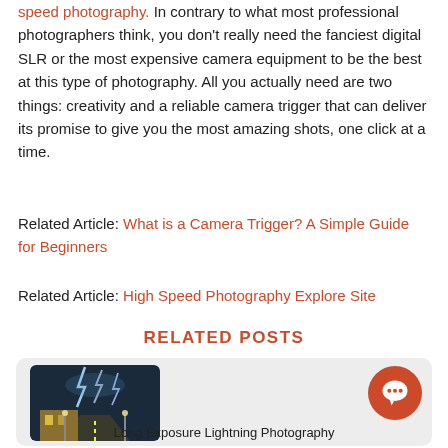speed photography. In contrary to what most professional photographers think, you don't really need the fanciest digital SLR or the most expensive camera equipment to be the best at this type of photography. All you actually need are two things: creativity and a reliable camera trigger that can deliver its promise to give you the most amazing shots, one click at a time.
Related Article: What is a Camera Trigger? A Simple Guide for Beginners
Related Article: High Speed Photography Explore Site
RELATED POSTS
[Figure (photo): Long exposure lightning photography image showing a dramatic night sky with lightning over a road and building]
Long Exposure Lightning Photography